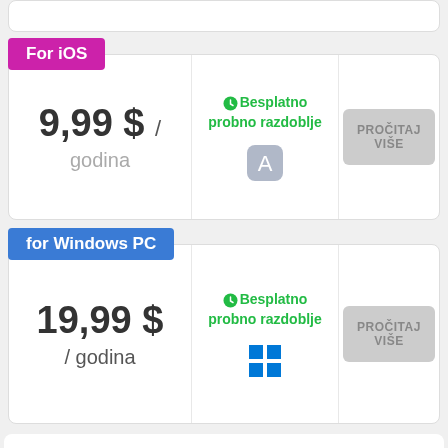For iOS
9,99 $ / godina
Besplatno probno razdoblje
PROČITAJ VIŠE
for Windows PC
19,99 $ / godina
Besplatno probno razdoblje
PROČITAJ VIŠE
7.4
POSJETITE EWALLET